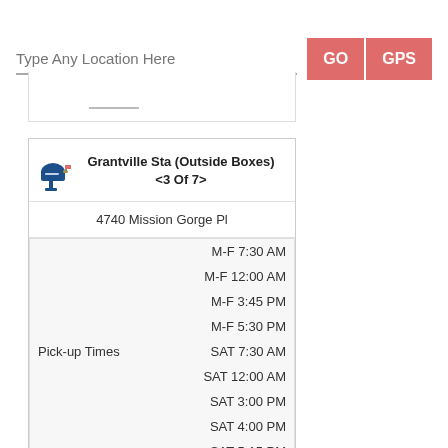Type Any Location Here
GO
GPS
Grantville Sta (Outside Boxes) <3 Of 7>
4740 Mission Gorge Pl
|  |  |
| --- | --- |
|  | M-F 7:30 AM |
|  | M-F 12:00 AM |
|  | M-F 3:45 PM |
|  | M-F 5:30 PM |
| Pick-up Times | SAT 7:30 AM |
|  | SAT 12:00 AM |
|  | SAT 3:00 PM |
|  | SAT 4:00 PM |
|  | SAT 5:15 PM |
92120